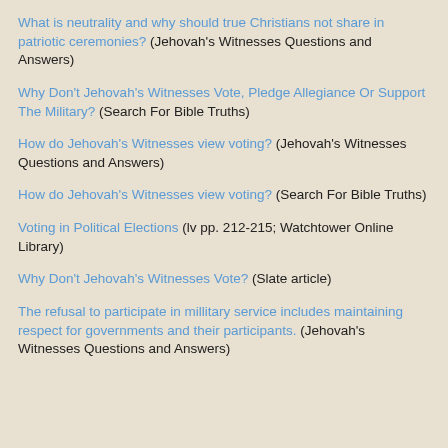What is neutrality and why should true Christians not share in patriotic ceremonies? (Jehovah's Witnesses Questions and Answers)
Why Don't Jehovah's Witnesses Vote, Pledge Allegiance Or Support The Military? (Search For Bible Truths)
How do Jehovah's Witnesses view voting? (Jehovah's Witnesses Questions and Answers)
How do Jehovah's Witnesses view voting? (Search For Bible Truths)
Voting in Political Elections (lv pp. 212-215; Watchtower Online Library)
Why Don't Jehovah's Witnesses Vote? (Slate article)
The refusal to participate in millitary service includes maintaining respect for governments and their participants. (Jehovah's Witnesses Questions and Answers)